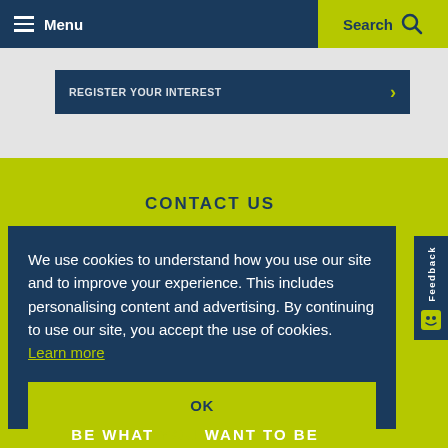Menu | Search
REGISTER YOUR INTEREST
CONTACT US
We use cookies to understand how you use our site and to improve your experience. This includes personalising content and advertising. By continuing to use our site, you accept the use of cookies. Learn more
OK
BE WHAT YOU WANT TO BE